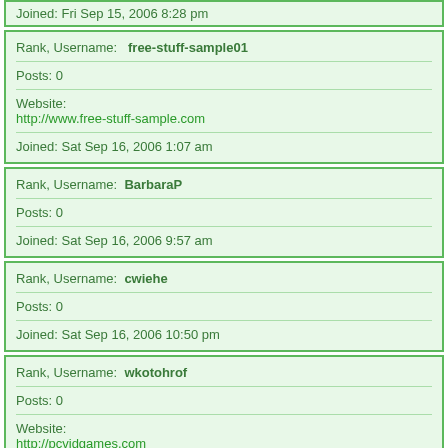Joined: Fri Sep 15, 2006 8:28 pm
Rank, Username: free-stuff-sample01
Posts: 0
Website: http://www.free-stuff-sample.com
Joined: Sat Sep 16, 2006 1:07 am
Rank, Username: BarbaraP
Posts: 0
Joined: Sat Sep 16, 2006 9:57 am
Rank, Username: cwiehe
Posts: 0
Joined: Sat Sep 16, 2006 10:50 pm
Rank, Username: wkotohrof
Posts: 0
Website: http://pcvidgames.com
Joined: Sun Sep 17, 2006 1:31 pm
Rank, Username: pgwolff
Posts: 0
Joined: Sun Sep 17, 2006 4:24 pm